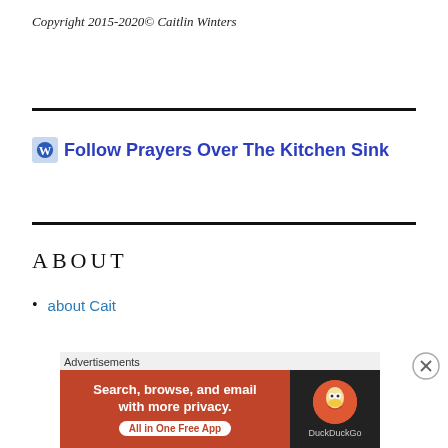Copyright 2015-2020© Caitlin Winters
Follow Prayers Over The Kitchen Sink
ABOUT
about Cait
Advertisements
[Figure (other): DuckDuckGo advertisement banner: Search, browse, and email with more privacy. All in One Free App.]